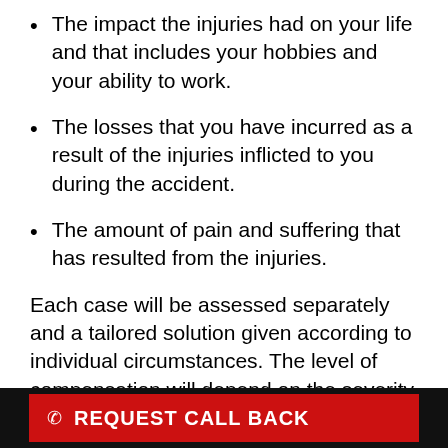The impact the injuries had on your life and that includes your hobbies and your ability to work.
The losses that you have incurred as a result of the injuries inflicted to you during the accident.
The amount of pain and suffering that has resulted from the injuries.
Each case will be assessed separately and a tailored solution given according to individual circumstances. The level of compensation will depend on the severity of your injury. To find out if you can claim compensation call our friendly no win no fee Solicitors on 0121 565 4317 or
[Figure (infographic): Dark banner with red button labeled REQUEST CALL BACK with phone icon]